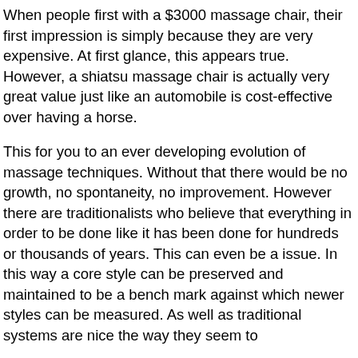When people first with a $3000 massage chair, their first impression is simply because they are very expensive. At first glance, this appears true. However, a shiatsu massage chair is actually very great value just like an automobile is cost-effective over having a horse.
This for you to an ever developing evolution of massage techniques. Without that there would be no growth, no spontaneity, no improvement. However there are traditionalists who believe that everything in order to be done like it has been done for hundreds or thousands of years. This can even be a issue. In this way a core style can be preserved and maintained to be a bench mark against which newer styles can be measured. As well as traditional systems are nice the way they seem to